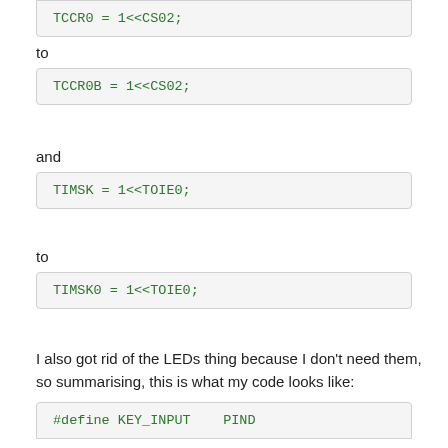[Figure (other): Code block showing: TCCR0 = 1<<CS02;]
to
[Figure (other): Code block showing: TCCR0B = 1<<CS02;]
and
[Figure (other): Code block showing: TIMSK = 1<<TOIE0;]
to
[Figure (other): Code block showing: TIMSK0 = 1<<TOIE0;]
I also got rid of the LEDs thing because I don't need them, so summarising, this is what my code looks like:
[Figure (other): Code block showing: #define KEY_INPUT    PIND]